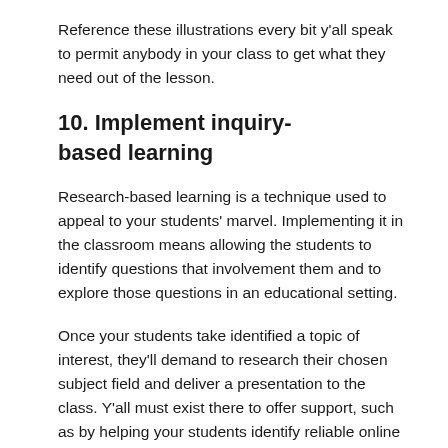Reference these illustrations every bit y'all speak to permit anybody in your class to get what they need out of the lesson.
10. Implement inquiry-based learning
Research-based learning is a technique used to appeal to your students' marvel. Implementing it in the classroom means allowing the students to identify questions that involvement them and to explore those questions in an educational setting.
Once your students take identified a topic of interest, they'll demand to research their chosen subject field and deliver a presentation to the class. Y'all must exist there to offer support, such as by helping your students identify reliable online sources for inquiry.
After the presentation is over, ask your students to reverberate on the projection as a whole. You desire them to evaluate what